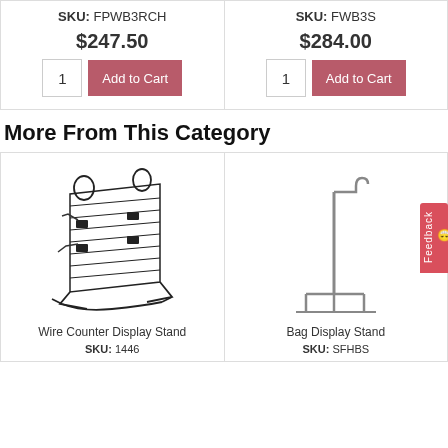SKU: FPWB3RCH
$247.50
SKU: FWB3S
$284.00
More From This Category
[Figure (illustration): Wire Counter Display Stand product illustration showing a slatted wire display rack with hooks and rings]
Wire Counter Display Stand
SKU: 1446
[Figure (illustration): Bag Display Stand product illustration showing a tall vertical pole stand with a curved hook at the top and a flat base]
Bag Display Stand
SKU: SFHBS